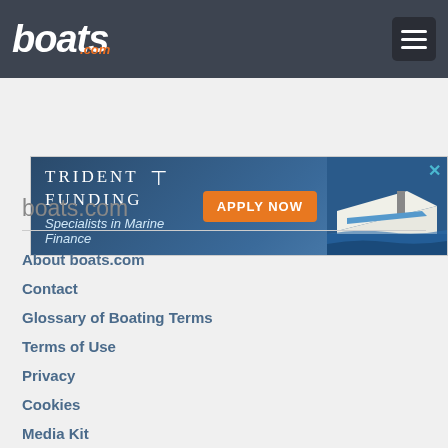boats.com
[Figure (infographic): Trident Funding advertisement banner - Specialists in Marine Finance with Apply Now button]
boats.com
About boats.com
Contact
Glossary of Boating Terms
Terms of Use
Privacy
Cookies
Media Kit
Advertiser Agreement
Do not sell my personal information
Resources